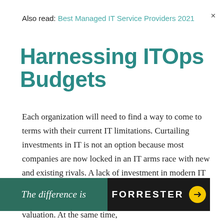Also read: Best Managed IT Service Providers 2021
Harnessing ITOps Budgets
Each organization will need to find a way to come to terms with their current IT limitations. Curtailing investments in IT is not an option because most companies are now locked in an IT arms race with new and existing rivals. A lack of investment in modern IT could easily put an organization at a competitive disadvantage that results in it being acquired at a lower valuation. At the same time, organizations dget dolla i
[Figure (other): Forrester advertisement banner: green left panel with italic text 'The difference is', black right panel with 'FORRESTER' logo and yellow arrow circle button. Close X in upper right.]